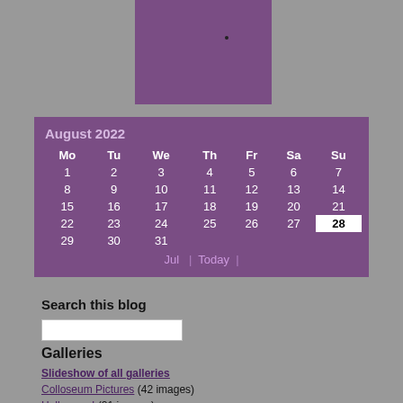[Figure (other): Purple block widget area on gray background with a small dot]
| Mo | Tu | We | Th | Fr | Sa | Su |
| --- | --- | --- | --- | --- | --- | --- |
| 1 | 2 | 3 | 4 | 5 | 6 | 7 |
| 8 | 9 | 10 | 11 | 12 | 13 | 14 |
| 15 | 16 | 17 | 18 | 19 | 20 | 21 |
| 22 | 23 | 24 | 25 | 26 | 27 | 28 |
| 29 | 30 | 31 |  |  |  |  |
Jul  |  Today  |
Search this blog
Galleries
Slideshow of all galleries
Colloseum Pictures (42 images)
Halloween! (21 images)
Pre top banana drinks (18 images)